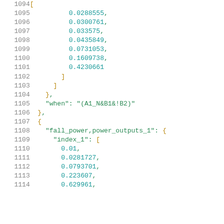Code listing lines 1094-1114 showing JSON data structure with numeric arrays and keys: fall_power,power_outputs_1, index_1, when condition (A1_N&B1&!B2)